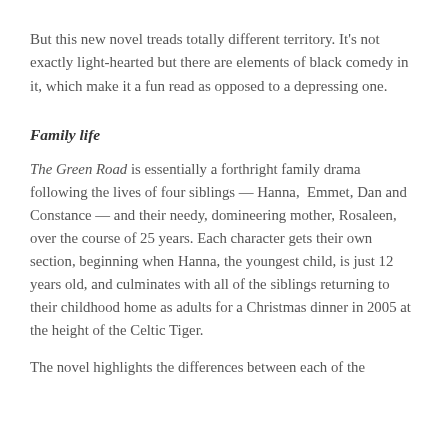But this new novel treads totally different territory. It's not exactly light-hearted but there are elements of black comedy in it, which make it a fun read as opposed to a depressing one.
Family life
The Green Road is essentially a forthright family drama following the lives of four siblings — Hanna, Emmet, Dan and Constance — and their needy, domineering mother, Rosaleen, over the course of 25 years. Each character gets their own section, beginning when Hanna, the youngest child, is just 12 years old, and culminates with all of the siblings returning to their childhood home as adults for a Christmas dinner in 2005 at the height of the Celtic Tiger.
The novel highlights the differences between each of the